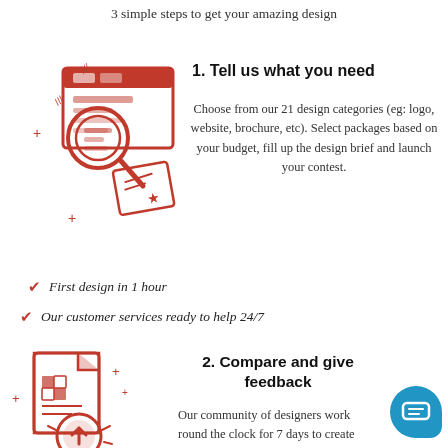3 simple steps to get your amazing design
[Figure (illustration): Red line-art icon of a browser window with a magnifying glass and a document/certificate with a star]
1. Tell us what you need
Choose from our 21 design categories (eg: logo, website, brochure, etc). Select packages based on your budget, fill up the design brief and launch your contest.
First design in 1 hour
Our customer services ready to help 24/7
[Figure (illustration): Red line-art icon of a document/file with a checkerboard pattern and an upload arrow circle]
2. Compare and give feedback
Our community of designers work round the clock for 7 days to create